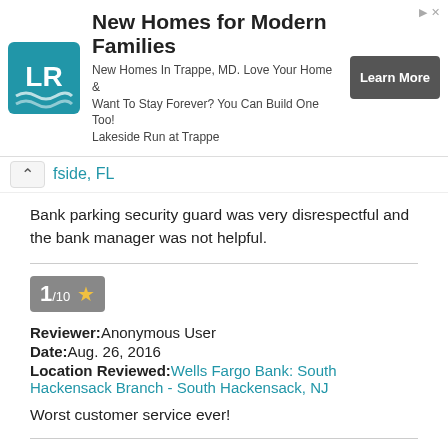[Figure (infographic): Advertisement banner for Lakeside Run at Trappe - New Homes for Modern Families with LR logo and Learn More button]
Wells Fargo Bank Cliffside Branch - Cliffside, FL
Bank parking security guard was very disrespectful and the bank manager was not helpful.
1/10 ★
Reviewer: Anonymous User
Date: Aug. 26, 2016
Location Reviewed: Wells Fargo Bank: South Hackensack Branch - South Hackensack, NJ
Worst customer service ever!
Reviewer: John F Windsor
Date: Aug. 5, 2016
Location Reviewed: Wells Fargo Bank: Orlando Tower Branch - Orlando, FL